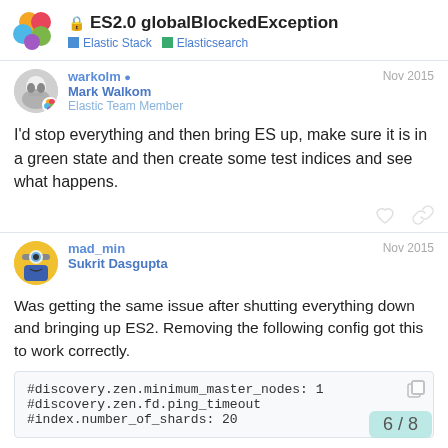ES2.0 globalBlockedException | Elastic Stack | Elasticsearch
warkolm ⓥ Mark Walkom Elastic Team Member Nov 2015
I'd stop everything and then bring ES up, make sure it is in a green state and then create some test indices and see what happens.
mad_min Sukrit Dasgupta Nov 2015
Was getting the same issue after shutting everything down and bringing up ES2. Removing the following config got this to work correctly.
#discovery.zen.minimum_master_nodes: 1
#discovery.zen.fd.ping_timeout
#index.number_of_shards: 20